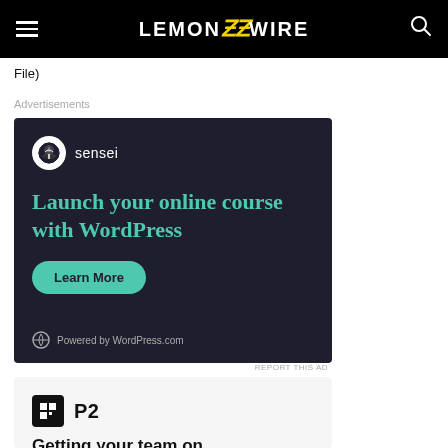LEMON ZZ WIRE
File)
Advertisements
[Figure (illustration): Sensei advertisement: dark navy background with Sensei logo (bonsai tree in white circle), headline 'Launch your online course with WordPress' in teal, green 'Learn More' button, and 'Powered by WordPress.com' footer.]
REPORT THIS AD
[Figure (logo): P2 logo block on light grey background with bold P2 text and partial heading 'Getting your team on']